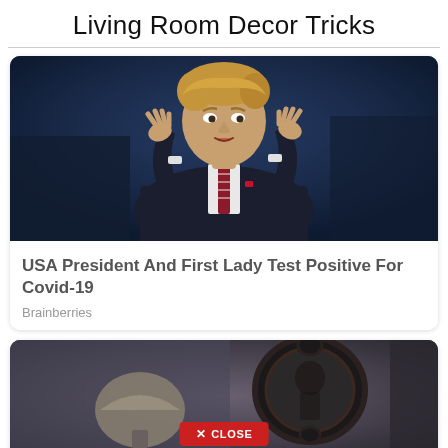Living Room Decor Tricks
[Figure (photo): Man in dark suit gesturing with both hands raised, speaking at a podium with microphone, dark blue background]
USA President And First Lady Test Positive For Covid-19
Brainberries
[Figure (photo): Dark gothic room interior with ornate mirror and decorative lamp, with a red CLOSE button overlay at the bottom]